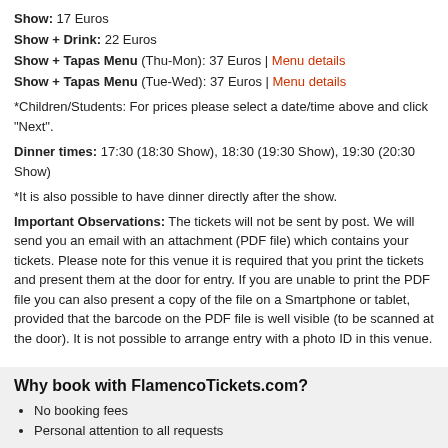Show: 17 Euros
Show + Drink: 22 Euros
Show + Tapas Menu (Thu-Mon): 37 Euros | Menu details
Show + Tapas Menu (Tue-Wed): 37 Euros | Menu details
*Children/Students: For prices please select a date/time above and click "Next".
Dinner times: 17:30 (18:30 Show), 18:30 (19:30 Show), 19:30 (20:30 Show)
*It is also possible to have dinner directly after the show.
Important Observations: The tickets will not be sent by post. We will send you an email with an attachment (PDF file) which contains your tickets. Please note for this venue it is required that you print the tickets and present them at the door for entry. If you are unable to print the PDF file you can also present a copy of the file on a Smartphone or tablet, provided that the barcode on the PDF file is well visible (to be scanned at the door). It is not possible to arrange entry with a photo ID in this venue.
Why book with FlamencoTickets.com?
No booking fees
Personal attention to all requests